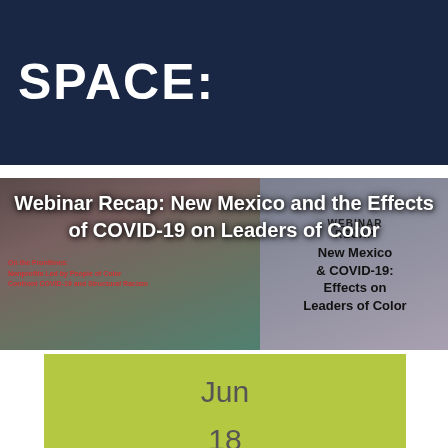SPACE:
[Figure (illustration): Webinar recap image showing 'New Mexico & COVID-19: Effects on Leaders of Color' with photos of people and event branding. On the Frontlines: Nonprofits Led by People of Color Confront COVID-19 and Structural Racism.]
Webinar Recap: New Mexico and the Effects of COVID-19 on Leaders of Color
Jun
18
2015